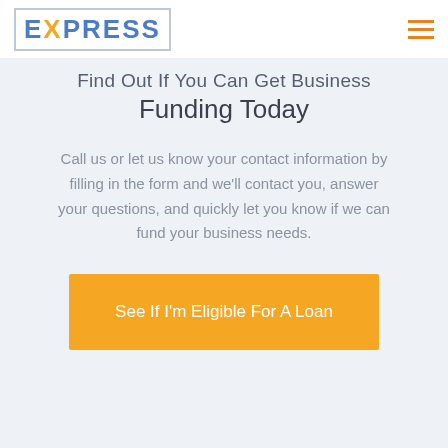EXPRESS
Find Out If You Can Get Business Funding Today
Call us or let us know your contact information by filling in the form and we'll contact you, answer your questions, and quickly let you know if we can fund your business needs.
See If I'm Eligible For A Loan